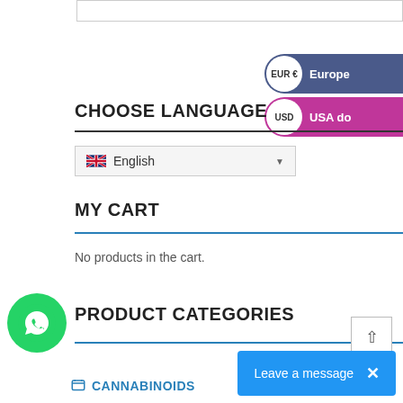CHOOSE LANGUAGE
English
MY CART
No products in the cart.
PRODUCT CATEGORIES
CANNABINOIDS